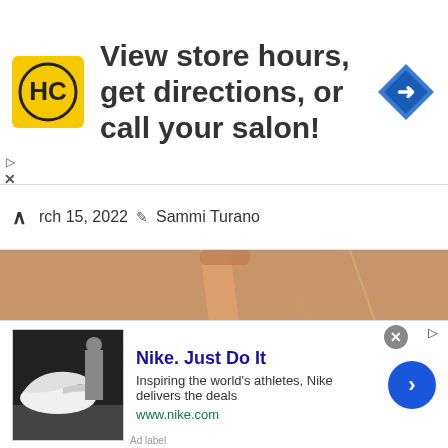[Figure (other): HC salon brand advertisement banner with logo and navigation icon. Text reads: View store hours, get directions, or call your salon!]
rch 15, 2022  Sammi Turano
[Figure (photo): A food and drink scene showing cocktails being poured, garnishes, and food items on a table with white wax paper]
[Figure (other): Nike advertisement. Title: Nike. Just Do It. Description: Inspiring the world's athletes, Nike delivers the deals. URL: www.nike.com. Image shows Nike Air Force 1 shoes.]